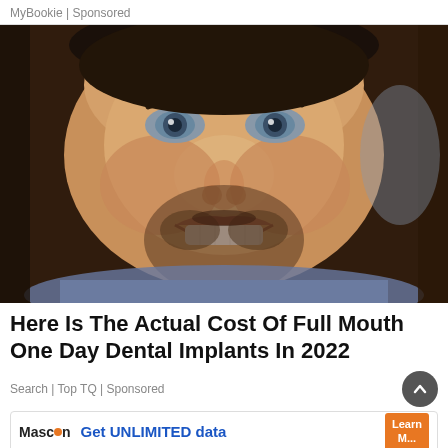MyBookie | Sponsored
[Figure (photo): Close-up photo of a smiling man with dark stubble beard, short dark hair, blue-gray eyes, wearing a blue shirt. He has bright white teeth and appears to be in his 30s-40s.]
Here Is The Actual Cost Of Full Mouth One Day Dental Implants In 2022
Search | Top TQ | Sponsored
[Figure (infographic): Advertisement banner for Mascon with text 'Get UNLIMITED data' and a Learn More orange button, followed by a partial image of a building with trees.]